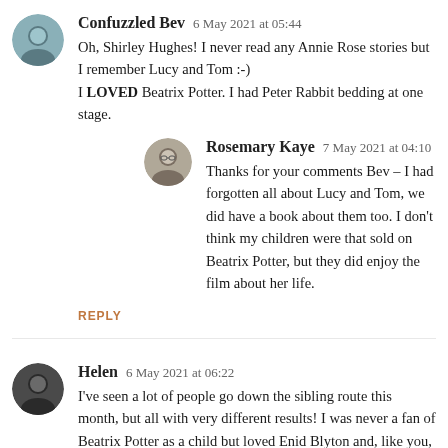Confuzzled Bev  6 May 2021 at 05:44
Oh, Shirley Hughes! I never read any Annie Rose stories but I remember Lucy and Tom :-)
I LOVED Beatrix Potter. I had Peter Rabbit bedding at one stage.
Rosemary Kaye  7 May 2021 at 04:10
Thanks for your comments Bev – I had forgotten all about Lucy and Tom, we did have a book about them too. I don't think my children were that sold on Beatrix Potter, but they did enjoy the film about her life.
REPLY
Helen  6 May 2021 at 06:22
I've seen a lot of people go down the sibling route this month, but all with very different results! I was never a fan of Beatrix Potter as a child but loved Enid Blyton and, like you, I must